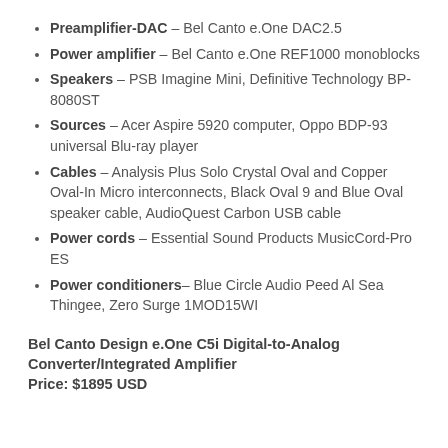Preamplifier-DAC – Bel Canto e.One DAC2.5
Power amplifier – Bel Canto e.One REF1000 monoblocks
Speakers – PSB Imagine Mini, Definitive Technology BP-8080ST
Sources – Acer Aspire 5920 computer, Oppo BDP-93 universal Blu-ray player
Cables – Analysis Plus Solo Crystal Oval and Copper Oval-In Micro interconnects, Black Oval 9 and Blue Oval speaker cable, AudioQuest Carbon USB cable
Power cords – Essential Sound Products MusicCord-Pro ES
Power conditioners– Blue Circle Audio Peed Al Sea Thingee, Zero Surge 1MOD15WI
Bel Canto Design e.One C5i Digital-to-Analog Converter/Integrated Amplifier
Price: $1895 USD